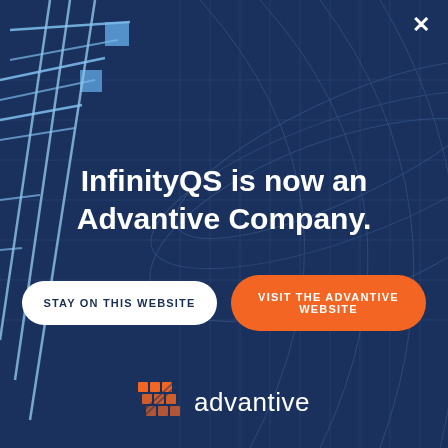[Figure (illustration): Dark navy blue background with globe/building grid lines overlay and geometric blue diagonal lines on the left side]
InfinityQS is now an Advantive Company.
STAY ON THIS WEBSITE
VISIT THE ADVANTIVE WEBSITE
[Figure (logo): Advantive company logo: orange grid/lattice icon followed by the word 'advantive' in white]